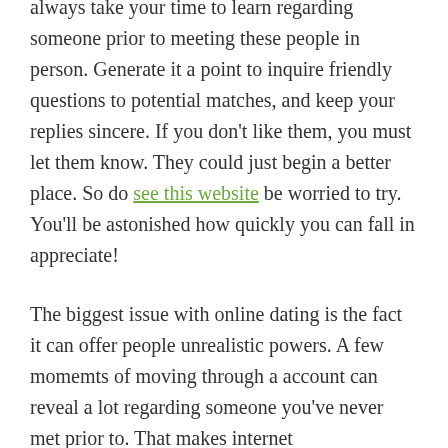always take your time to learn regarding someone prior to meeting these people in person. Generate it a point to inquire friendly questions to potential matches, and keep your replies sincere. If you don't like them, you must let them know. They could just begin a better place. So do see this website be worried to try. You'll be astonished how quickly you can fall in appreciate!
The biggest issue with online dating is the fact it can offer people unrealistic powers. A few momemts of moving through a account can reveal a lot regarding someone you've never met prior to. That makes internet